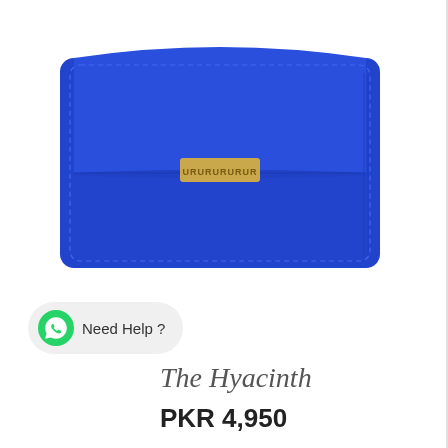[Figure (photo): A royal blue rectangular wallet/clutch with a gold logo plate in the center, shown on a white background. The wallet has a flap-over design with stitched edges.]
Need Help ?
The Hyacinth
PKR 4,950